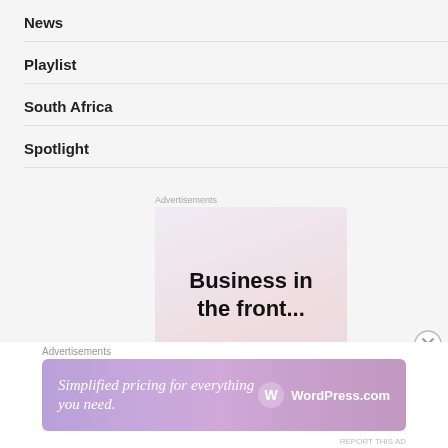News
Playlist
South Africa
Spotlight
Advertisements
[Figure (illustration): Advertisement image with text 'Business in the front...' and WordPress branding pill at the bottom, pink-purple gradient background]
Advertisements
[Figure (illustration): Banner advertisement: 'Simplified pricing for everything you need.' with WordPress.com logo on a purple/pink gradient background]